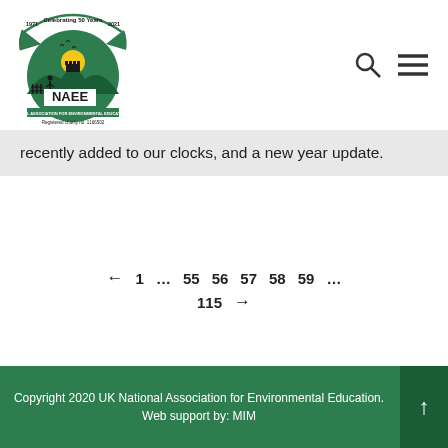[Figure (logo): NAEE logo — National Association for Environmental Education (UK), Registered charity no. 1166502, Celebrating 50 Years 1971-2021]
recently added to our clocks, and a new year update.
← 1 … 55 56 57 58 59 … 115 →
Copyright 2020 UK National Association for Environmental Education. Web support by: MIM